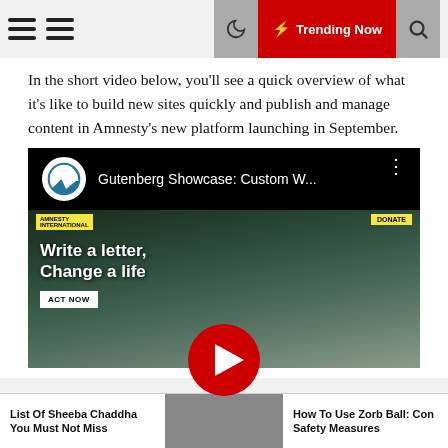Trending Now
In the short video below, you'll see a quick overview of what it's like to build new sites quickly and publish and manage content in Amnesty's new platform launching in September.
[Figure (screenshot): YouTube video thumbnail showing WordPress Gutenberg Showcase: Custom W... video with Amnesty International website preview showing 'Write a letter, Change a life' hero text with forest background and YouTube play button overlay]
Who We Are
What We Do
Get Involved
List Of Sheeba Chaddha You Must Not Miss
How To Use Zorb Ball: Con Safety Measures